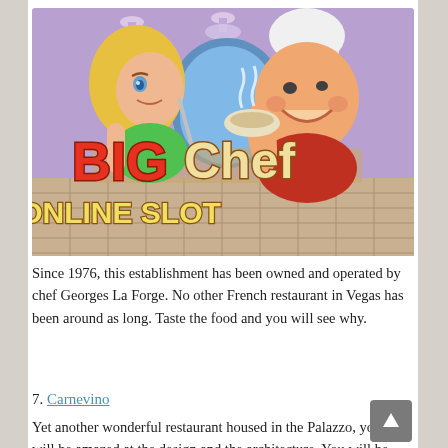[Figure (illustration): Big Chef Online Slot promotional image showing a cartoon female character with blonde hair holding cooking utensils and a large chef character with a white chef hat holding a bowl of soup, with colorful text 'BIG Chef ONLINE SLOT' on a purple and tiled kitchen background.]
Since 1976, this establishment has been owned and operated by chef Georges La Forge. No other French restaurant in Vegas has been around as long. Taste the food and you will see why.
7. Carnevino
Yet another wonderful restaurant housed in the Palazzo, you will be amazed at the design and the architecture. You will be